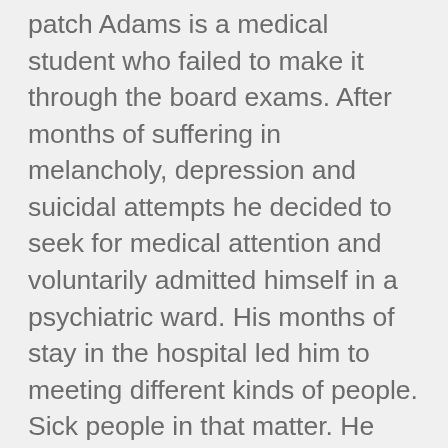patch Adams is a medical student who failed to make it through the board exams. After months of suffering in melancholy, depression and suicidal attempts he decided to seek for medical attention and voluntarily admitted himself in a psychiatric ward. His months of stay in the hospital led him to meeting different kinds of people. Sick people in that matter. He met a catatonic, a mentally retarded, a schizophrenic and so on. Patch found ways of treating his own ailment and finally realized he has to get back on track. He woke up one morning realizing that after all the failure and pains he has gone through, he still want to become the a doctor. He carries with himself a positive attitude that brought him self